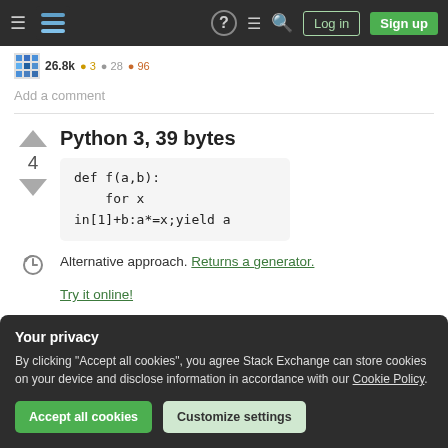Stack Exchange navigation bar with hamburger menu, logo, help, chat, search, Log in, Sign up
26.8k  3  28  96
Add a comment
Python 3, 39 bytes
def f(a,b):
    for x in[1]+b:a*=x;yield a
Alternative approach. Returns a generator.
Try it online!
Your privacy
By clicking "Accept all cookies", you agree Stack Exchange can store cookies on your device and disclose information in accordance with our Cookie Policy.
Accept all cookies  Customize settings